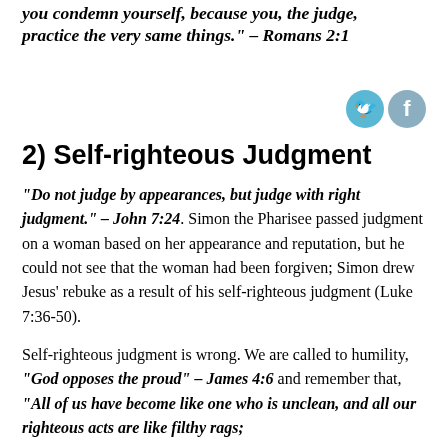you condemn yourself, because you, the judge, practice the very same things." – Romans 2:1
[Figure (illustration): Twitter and Facebook social media icon circles in teal/grey colors]
2) Self-righteous Judgment
"Do not judge by appearances, but judge with right judgment." – John 7:24. Simon the Pharisee passed judgment on a woman based on her appearance and reputation, but he could not see that the woman had been forgiven; Simon drew Jesus' rebuke as a result of his self-righteous judgment (Luke 7:36-50).
Self-righteous judgment is wrong. We are called to humility, "God opposes the proud" – James 4:6 and remember that, "All of us have become like one who is unclean, and all our righteous acts are like filthy rags;